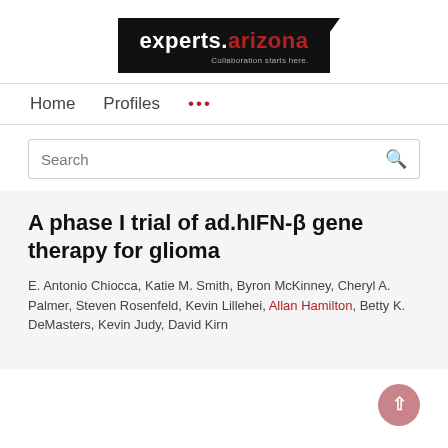[Figure (logo): experts.arizona logo — black background box with white text 'experts.' and red text 'arizona', tagline 'Collaboration starts here.']
Home   Profiles   ...
Search
A phase I trial of ad.hIFN-β gene therapy for glioma
E. Antonio Chiocca, Katie M. Smith, Byron McKinney, Cheryl A. Palmer, Steven Rosenfeld, Kevin Lillehei, Allan Hamilton, Betty K. DeMasters, Kevin Judy, David Kirn